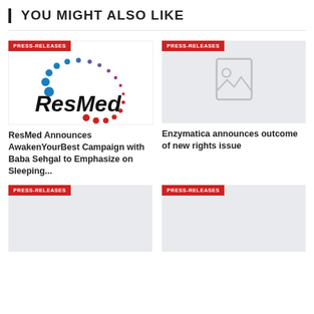YOU MIGHT ALSO LIKE
[Figure (logo): ResMed logo with dot wave pattern in blue and red]
PRESS-RELEASES
ResMed Announces AwakenYourBest Campaign with Baba Sehgal to Emphasize on Sleeping...
[Figure (illustration): Placeholder image icon on light grey background]
PRESS-RELEASES
Enzymatica announces outcome of new rights issue
[Figure (illustration): Placeholder image card with PRESS-RELEASES badge]
PRESS-RELEASES
[Figure (illustration): Placeholder image card with PRESS-RELEASES badge]
PRESS-RELEASES